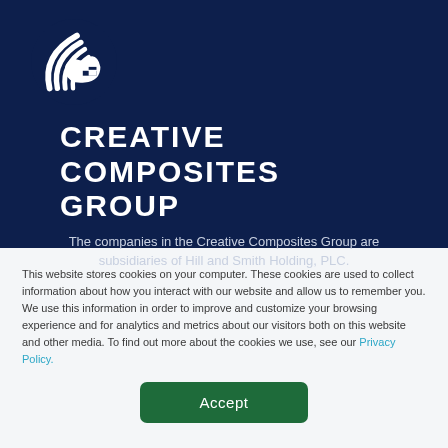[Figure (logo): Creative Composites Group logo — white circular arc/wing motif on dark navy background]
CREATIVE COMPOSITES GROUP
The companies in the Creative Composites Group are subsidiaries of Hill and Smith Holding, PLC.
This website stores cookies on your computer. These cookies are used to collect information about how you interact with our website and allow us to remember you. We use this information in order to improve and customize your browsing experience and for analytics and metrics about our visitors both on this website and other media. To find out more about the cookies we use, see our Privacy Policy.
Accept